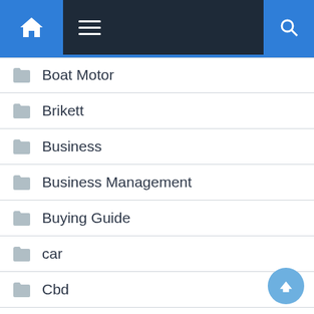Navigation bar with home, menu, and search icons
Boat Motor
Brikett
Business
Business Management
Buying Guide
car
Cbd
CBD Oils
Childcare